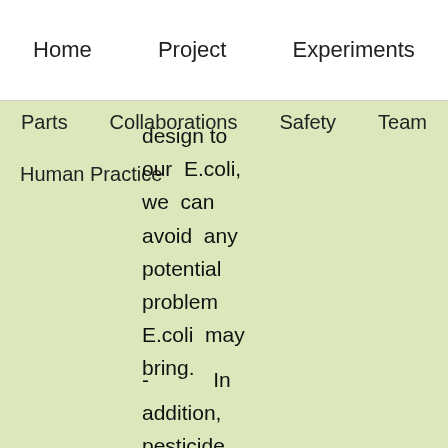Home   Project   Experiments
Parts   Collaborations   Safety   Team   Human Practice
design to our E.coli, we can avoid any potential problem E.coli may bring.
- In addition, pesticide residue is a great